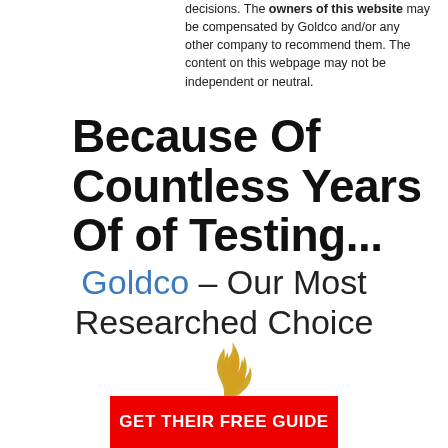decisions. The owners of this website may be compensated by Goldco and/or any other company to recommend them. The content on this webpage may not be independent or neutral.
Because Of Countless Years Of of Testing...
Goldco – Our Most Researched Choice
[Figure (logo): Goldco logo with golden flame/swirl above text GOLDCO in bold black with registered trademark symbol]
GET THEIR FREE GUIDE